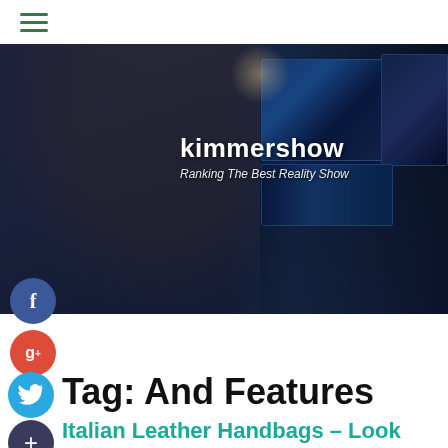≡ (hamburger menu)
[Figure (photo): Person with headphones and beard sitting at desk editing video on multiple monitors. Overlay text: kimmershow / Ranking The Best Reality Show]
Tag: And Features
Italian Leather Handbags – Look For Quality, Authenticity, And Features